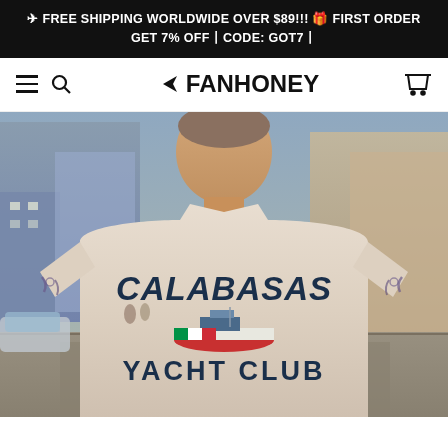✈ FREE SHIPPING WORLDWIDE OVER $89!!! 🎁 FIRST ORDER GET 7% OFF丨CODE: GOT7丨
FANHONEY
[Figure (photo): Man wearing a beige Calabasas Yacht Club t-shirt standing on a city street, with tattoos on his arms, a chain necklace, photographed from the chest up against an urban background.]